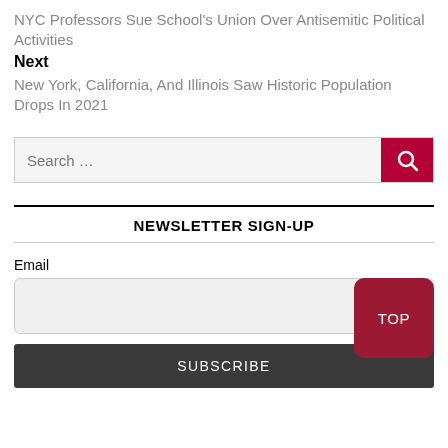NYC Professors Sue School's Union Over Antisemitic Political Activities
Next
New York, California, And Illinois Saw Historic Population Drops In 2021
[Figure (other): Search input field with red search button on the right]
NEWSLETTER SIGN-UP
Email
[Figure (other): Email input field with dark red TOP button overlaid on the right]
SUBSCRIBE